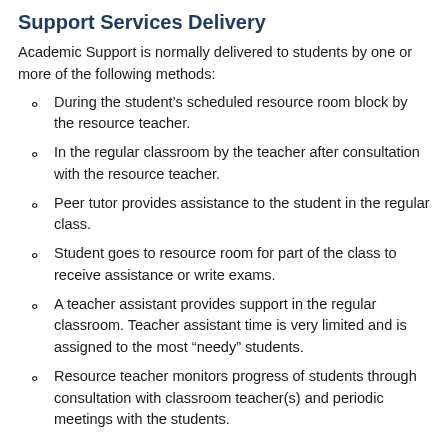Support Services Delivery
Academic Support is normally delivered to students by one or more of the following methods:
During the student's scheduled resource room block by the resource teacher.
In the regular classroom by the teacher after consultation with the resource teacher.
Peer tutor provides assistance to the student in the regular class.
Student goes to resource room for part of the class to receive assistance or write exams.
A teacher assistant provides support in the regular classroom. Teacher assistant time is very limited and is assigned to the most “needy” students.
Resource teacher monitors progress of students through consultation with classroom teacher(s) and periodic meetings with the students.
Student Requirements for Continuing Support...